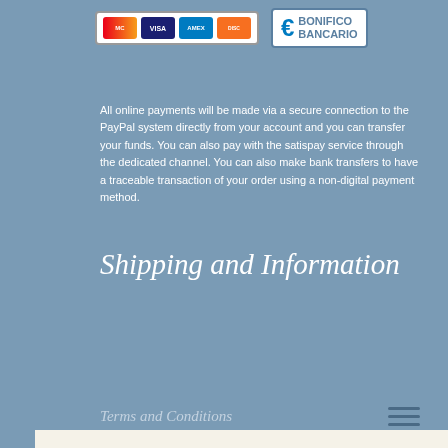[Figure (other): Payment method icons: credit cards (MasterCard, Visa, AMEX, Discover) and Bonifico Bancario (bank transfer) with Euro symbol]
All online payments will be made via a secure connection to the PayPal system directly from your account and you can transfer your funds. You can also pay with the satispay service through the dedicated channel. You can also make bank transfers to have a traceable transaction of your order using a non-digital payment method.
Shipping and Information
Terms and Conditions
We use cookies on our website to give you the most relevant experience by remembering your preferences and repeat visits. By clicking “Accept All”, you consent to the use of ALL the cookies. However, you may visit “Cookie Settings” to provide a controlled consent.